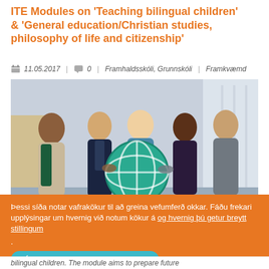ITE Modules on 'Teaching bilingual children' & 'General education/Christian studies, philosophy of life and citizenship'
11.05.2017   0   Framhaldsskóli, Grunnskóli   Framkvæmd
[Figure (photo): Five diverse professionals standing together outdoors holding a large green globe/world icon, smiling. City buildings visible in background.]
Þessi síða notar vafrakökur til að greina vefumferð okkar. Fáðu frekari upplýsingar um hvernig við notum kökur á og hvernig þú getur breytt stillingum .
Ég samþykki þessar vafrakökur
Ég hafna þessum vafrakökum
bilingual children. The module aims to prepare future